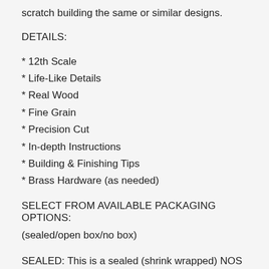scratch building the same or similar designs.
DETAILS:
* 12th Scale
* Life-Like Details
* Real Wood
* Fine Grain
* Precision Cut
* In-depth Instructions
* Building & Finishing Tips
* Brass Hardware (as needed)
SELECT FROM AVAILABLE PACKAGING OPTIONS:
(sealed/open box/no box)
SEALED: This is a sealed (shrink wrapped) NOS (new old